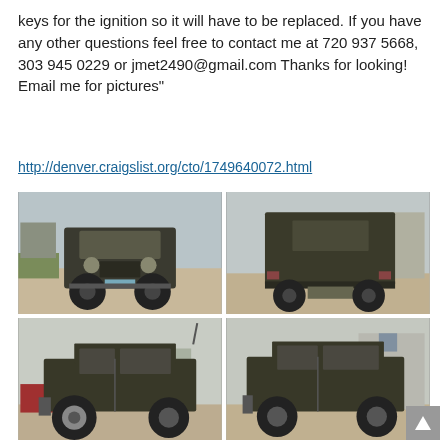keys for the ignition so it will have to be replaced. If you have any other questions feel free to contact me at 720 937 5668, 303 945 0229 or jmet2490@gmail.com Thanks for looking! Email me for pictures"
http://denver.craigslist.org/cto/1749640072.html
[Figure (photo): Four photos of an old military-style Jeep shown from front, rear, left side, and right side views, parked outdoors on gravel/dirt ground.]